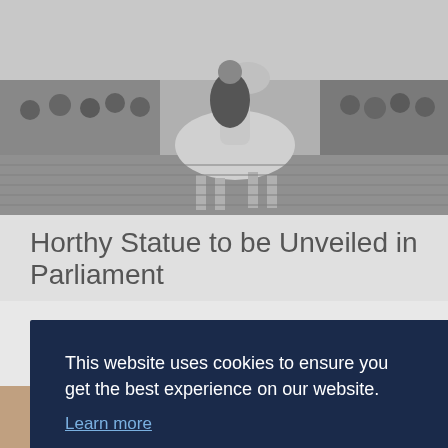[Figure (photo): Black and white historical photograph of a man on horseback riding through a crowd of people on a cobblestone street, likely early 20th century.]
Horthy Statue to be Unveiled in Parliament
This website uses cookies to ensure you get the best experience on our website.
Learn more
Decline
Allow cookies